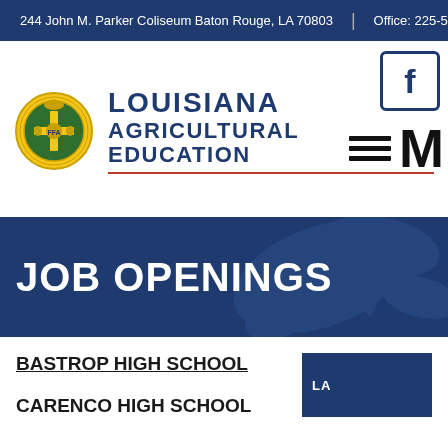244 John M. Parker Coliseum Baton Rouge, LA 70803 | Office: 225-578-
[Figure (logo): Louisiana Agricultural Education / FFA logo with circular FFA emblem and text LOUISIANA AGRICULTURAL EDUCATION]
JOB OPENINGS
BASTROP HIGH SCHOOL
CARENCO HIGH SCHOOL